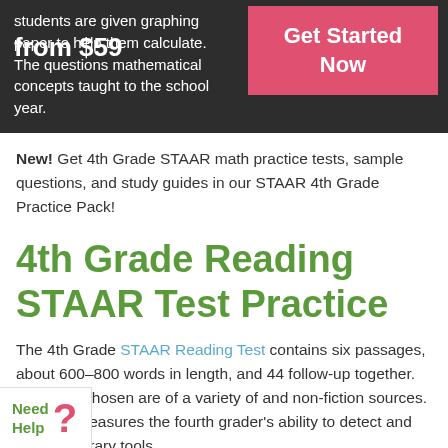students are given graphing paper to help them calculate. The questions mathematical concepts taught to the school year.
[Figure (other): Pink 'Get Started Now' button overlay on dark banner]
from $59
New! Get 4th Grade STAAR math practice tests, sample questions, and study guides in our STAAR 4th Grade Practice Pack!
4th Grade Reading STAAR Test Practice
The 4th Grade STAAR Reading Test contains six passages, about 600–800 words in length, and 44 follow-up together. The texts chosen are of a variety of and non-fiction sources. The test measures the fourth grader's ability to detect and identify literary tools
Need Help ?